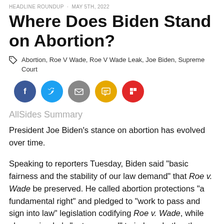HEADLINE ROUNDUP · May 5th, 2022
Where Does Biden Stand on Abortion?
Abortion, Roe V Wade, Roe V Wade Leak, Joe Biden, Supreme Court
[Figure (infographic): Row of five social share buttons: Facebook (dark blue), Twitter (light blue), Email (grey), SMS (yellow/gold), Flipboard (red)]
AllSides Summary
President Joe Biden's stance on abortion has evolved over time.
Speaking to reporters Tuesday, Biden said "basic fairness and the stability of our law demand" that Roe v. Wade be preserved. He called abortion protections "a fundamental right" and pledged to "work to pass and sign into law" legislation codifying Roe v. Wade, while also saying he's "not prepared" to judge whether the Senate should remove the filibuster to do that.